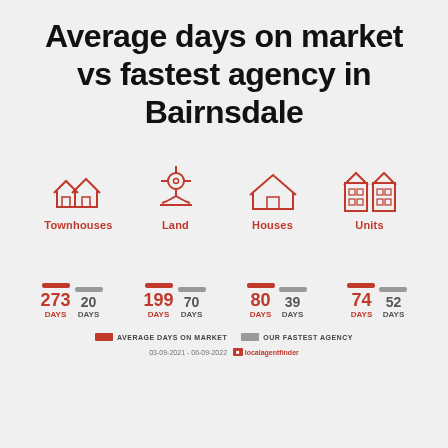Average days on market vs fastest agency in Bairnsdale
[Figure (infographic): Four property type icons in red outline style: Townhouses, Land, Houses, Units]
[Figure (bar-chart): Average days on market vs fastest agency in Bairnsdale]
AVERAGE DAYS ON MARKET   OUR FASTEST AGENCY
03-09-2021 - 06-09-2022   localagentfinder